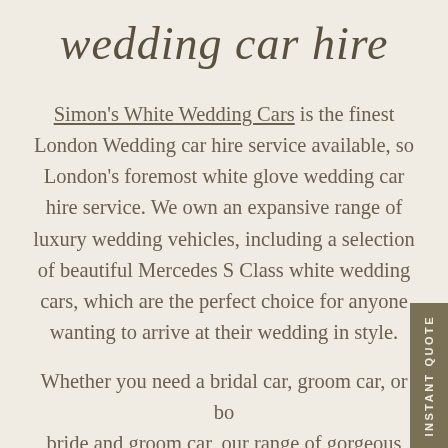wedding car hire
Simon's White Wedding Cars is the finest London Wedding car hire service available, so London's foremost white glove wedding car hire service. We own an expansive range of luxury wedding vehicles, including a selection of beautiful Mercedes S Class white wedding cars, which are the perfect choice for anyone wanting to arrive at their wedding in style.
Whether you need a bridal car, groom car, or both bride and groom car, our range of gorgeous wedding cars are available for happy couples throughout London. After all, your wedding is o...